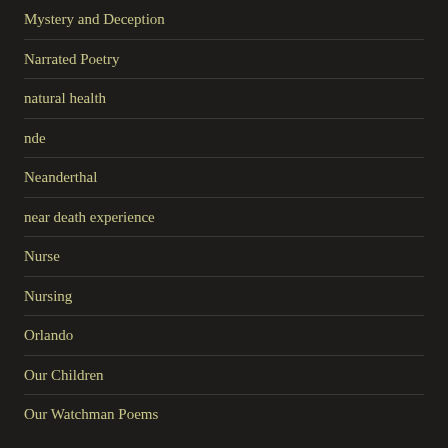Mystery and Deception
Narrated Poetry
natural health
nde
Neanderthal
near death experience
Nurse
Nursing
Orlando
Our Children
Our Watchman Poems